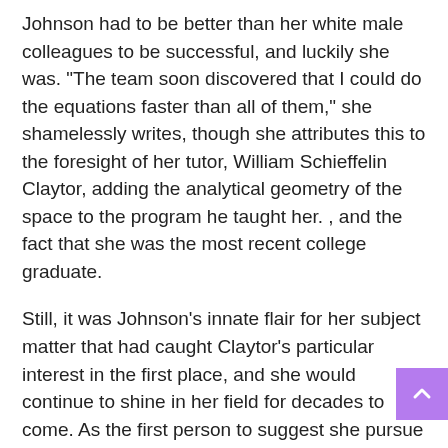Johnson had to be better than her white male colleagues to be successful, and luckily she was. “The team soon discovered that I could do the equations faster than all of them,” she shamelessly writes, though she attributes this to the foresight of her tutor, William Schieffelin Claytor, adding the analytical geometry of the space to the program he taught her. , and the fact that she was the most recent college graduate.
Still, it was Johnson’s innate flair for her subject matter that had caught Claytor’s particular interest in the first place, and she would continue to shine in her field for decades to come. As the first person to suggest she pursue a career as a research mathematician, Claytor appears more than once in a book rich in tributes to all the people who helped Johnson along the way, as well as those who helped them. As a result, memories are replete with inspiring cameos of talented and tenacious models who not only achieve great things through thick and thin, but are often dedicated to creating opportunities for those who might follow them.